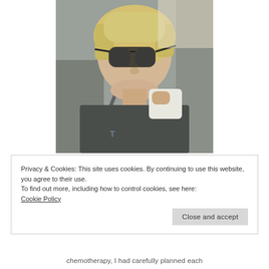[Figure (photo): A woman with short blonde hair and large sunglasses smiling in a car, wearing a dark grey t-shirt, taking a selfie.]
Privacy & Cookies: This site uses cookies. By continuing to use this website, you agree to their use.
To find out more, including how to control cookies, see here:
Cookie Policy

Close and accept
chemotherapy, I had carefully planned each